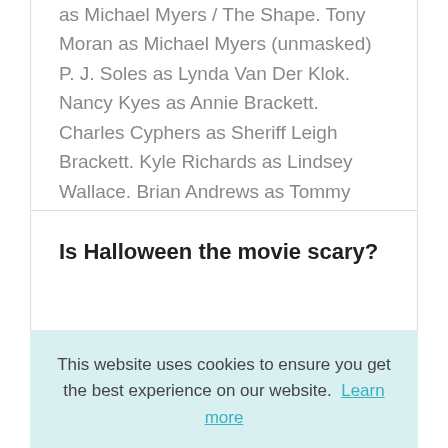as Michael Myers / The Shape. Tony Moran as Michael Myers (unmasked) P. J. Soles as Lynda Van Der Klok. Nancy Kyes as Annie Brackett. Charles Cyphers as Sheriff Leigh Brackett. Kyle Richards as Lindsey Wallace. Brian Andrews as Tommy Doyle.
Is Halloween the movie scary?
This website uses cookies to ensure you get the best experience on our website. Learn more
Got it!